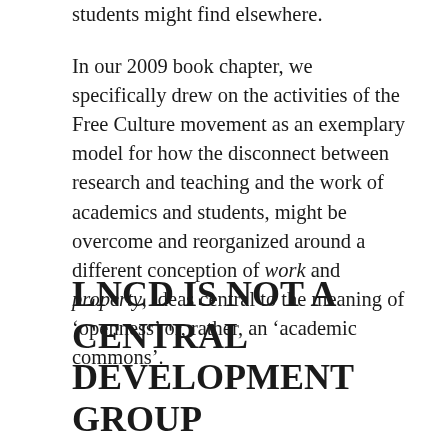students might find elsewhere.
In our 2009 book chapter, we specifically drew on the activities of the Free Culture movement as an exemplary model for how the disconnect between research and teaching and the work of academics and students, might be overcome and reorganized around a different conception of work and property, ideas central to the meaning of 'openness' or, rather, an 'academic commons'.
LNCD IS NOT A CENTRAL DEVELOPMENT GROUP